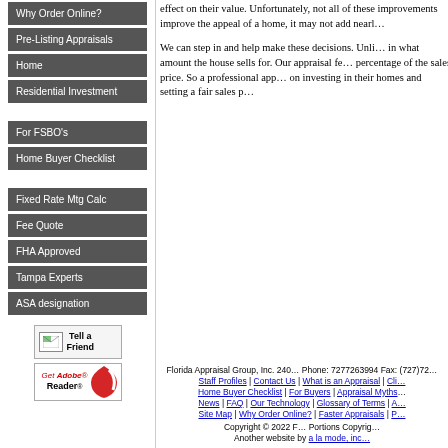Why Order Online?
Pre-Listing Appraisals
Home
Residential Investment
For FSBO's
Home Buyer Checklist
Fixed Rate Mtg Calc
Fee Quote
FHA Approved
Tampa Experts
ASA designation
effect on their value. Unfortunately, not all of these improvements improve the appeal of a home, it may not add nearly...
We can step in and help make these decisions. Unlike... in what amount the house sells for. Our appraisal fe... percentage of the sales price. So a professional app... on investing in their homes and setting a fair sales p...
Florida Appraisal Group, Inc. 240... Phone: 7277263994 Fax: (727)72... Staff Profiles | Contact Us | What is an Appraisal | Cli... Home Buyer Checklist | For Buyers | Appraisal Myths ... News | FAQ | Our Technology | Glossary of Terms | A... Site Map | Why Order Online? | Faster Appraisals | P... Copyright © 2022 F... Portions Copyrig... Another website by a la mode, inc...
[Figure (other): Tell a Friend button with envelope icon]
[Figure (other): Get Adobe Reader button with red swoosh logo]